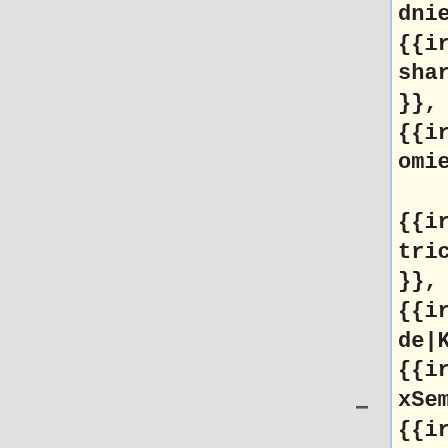{{ircnick|ha
shar|Antoine
}},
{{ircnick|an
omie|Brad}},

{{ircnick|os
triches|Chad
}},
{{ircnick|au
de|Katie}},
{{ircnick|Ma
xSem|Max}},
{{ircnick|tw
entyafterfou
r|Mukunda}},

{{ircnick|Ro
anKattouw|Ro
an}},
{{ircnick|De